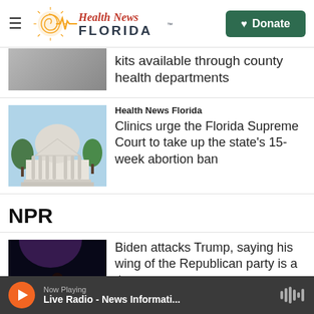Health News Florida | Donate
kits available through county health departments
Health News Florida
Clinics urge the Florida Supreme Court to take up the state's 15-week abortion ban
NPR
Biden attacks Trump, saying his wing of the Republican party is a threat to
Now Playing
Live Radio - News Informati...